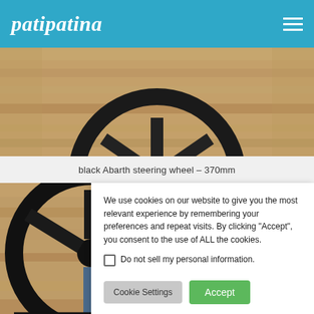patipatina
[Figure (photo): Top portion of a black Abarth steering wheel (370mm) photographed on a wooden surface]
black Abarth steering wheel – 370mm
[Figure (photo): Black Abarth steering wheel photographed on a wooden surface, partially obscured by cookie consent dialog]
We use cookies on our website to give you the most relevant experience by remembering your preferences and repeat visits. By clicking "Accept", you consent to the use of ALL the cookies.
Do not sell my personal information.